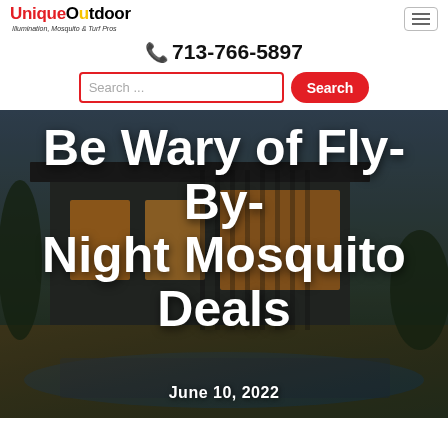[Figure (logo): UniqueOutdoor logo with red and black text and italic subtitle 'Illumination, Mosquito & Turf Pros']
713-766-5897
Search ...
[Figure (photo): Hero image of a modern house exterior at dusk with pool and landscape lighting, overlaid with large white text 'Be Wary of Fly-By-Night Mosquito Deals' and date 'June 10, 2022']
Be Wary of Fly-By-Night Mosquito Deals
June 10, 2022